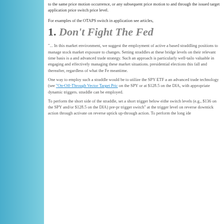to the same price motion occurrence, or any subsequent price motion to and through the issued target application price switch price level.
For examples of the OTAPS switch in application see articles,
1. Don't Fight The Fed
"... In this market environment, we suggest the employment of active a... based straddling positions to manage stock market exposure to changes... Setting straddles at these bridge levels on their relevant time basis is a... and advanced trade strategy. Such an approach is particularly well-tailo... valuable in engaging and effectively managing these market situations... presidential elections this fall and thereafter, regardless of what the Fe... meantime.
One way to employ such a straddle would be to utilize the SPY ETF a... an advanced trade technology (see "On-Off-Through Vector Target Pri... on the SPY or at $128.5 on the DIA, with appropriate dynamic triggers... straddle can be employed.
To perform the short side of the straddle, set a short trigger below eithe... switch levels (e.g., $136 on the SPY and/or $128.5 on the DIA) pre-pr... trigger switch" at the trigger level on reverse downtick action through ... activate on reverse uptick up-through action. To perform the long side...